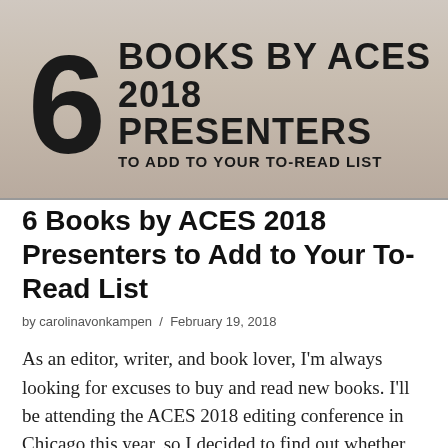[Figure (illustration): Banner image with large number '6' and text 'BOOKS BY ACES 2018 PRESENTERS TO ADD TO YOUR TO-READ LIST' on a muted beige/grey background]
6 Books by ACES 2018 Presenters to Add to Your To-Read List
by carolinavonkampen / February 19, 2018
As an editor, writer, and book lover, I'm always looking for excuses to buy and read new books. I'll be attending the ACES 2018 editing conference in Chicago this year, so I decided to find out whether any of the people presenting sessions had recently published books. Surprise surprise, they have! Some books are related directly to the presenters' ACES sessions, and some aren't. Here are six books by ACES 2018 presenters to add to your to-read list